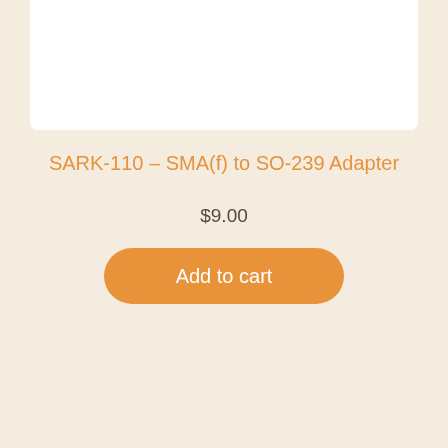[Figure (photo): White product image area at the top of the card]
SARK-110 – SMA(f) to SO-239 Adapter
$9.00
Add to cart